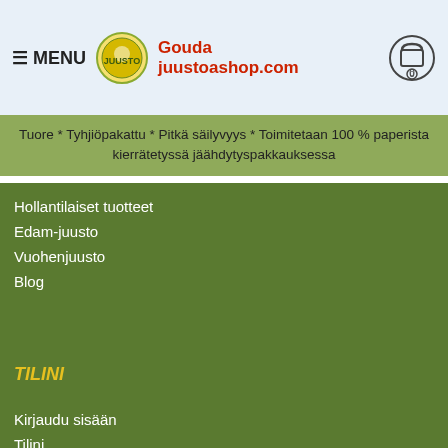≡ MENU  Gouda juustoashop.com
Tuore * Tyhjiöpakattu * Pitkä säilyvyys * Toimitetaan 100 % paperista kierrätetyssä jäähdytyspakkauksessa
Hollantilaiset tuotteet
Edam-juusto
Vuohenjuusto
Blog
TILINI
Kirjaudu sisään
Tilini
Toivelista
Lähetä meille sähköpostia